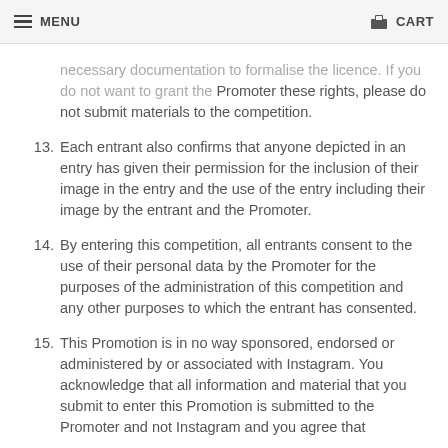MENU  CART
necessary documentation to formalise the licence. If you do not want to grant the Promoter these rights, please do not submit materials to the competition.
13. Each entrant also confirms that anyone depicted in an entry has given their permission for the inclusion of their image in the entry and the use of the entry including their image by the entrant and the Promoter.
14. By entering this competition, all entrants consent to the use of their personal data by the Promoter for the purposes of the administration of this competition and any other purposes to which the entrant has consented.
15. This Promotion is in no way sponsored, endorsed or administered by or associated with Instagram. You acknowledge that all information and material that you submit to enter this Promotion is submitted to the Promoter and not Instagram and you agree that